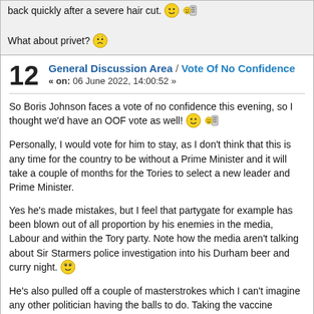back quickly after a severe hair cut. [emoji] [emoji]
What about privet? [emoji]
12   General Discussion Area / Vote Of No Confidence
« on: 06 June 2022, 14:00:52 »
So Boris Johnson faces a vote of no confidence this evening, so I thought we'd have an OOF vote as well! [emoji]
Personally, I would vote for him to stay, as I don't think that this is any time for the country to be without a Prime Minister and it will take a couple of months for the Tories to select a new leader and Prime Minister.
Yes he's made mistakes, but I feel that partygate for example has been blown out of all proportion by his enemies in the media, Labour and within the Tory party. Note how the media aren't talking about Sir Starmers police investigation into his Durham beer and curry night. [emoji]
He's also pulled off a couple of masterstrokes which I can't imagine any other politician having the balls to do. Taking the vaccine program away from the Department of Health and setting up the Vaccine Taskforce led by Venture Capitalist Kate Bingham for one. Most would have defaulted to the 'safe route' of joining the EU's efforts and I'm sure that that was the advice from the Civil Servants at the time.  The AUKUS submarine deal with Australia and the USA, was another act which I can't imagine any other potential PM doing, as they'd probably be too worried about upsetting the French! [emoji]